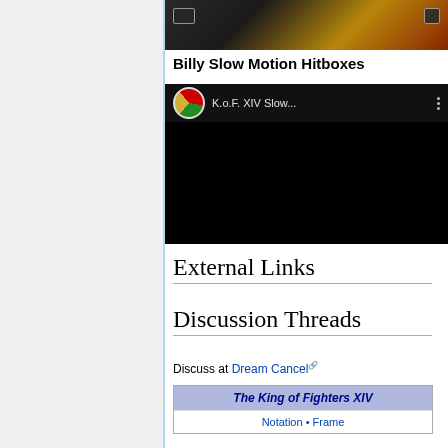[Figure (screenshot): Top portion of a video thumbnail with dark/orange gradient and playback overlay icons]
Billy Slow Motion Hitboxes
[Figure (screenshot): Embedded YouTube-style video player showing K.o.F. XIV Slow... channel with black video body]
External Links
Discussion Threads
Discuss at Dream Cancel
| The King of Fighters XIV |
| --- |
| Notation • Frame |